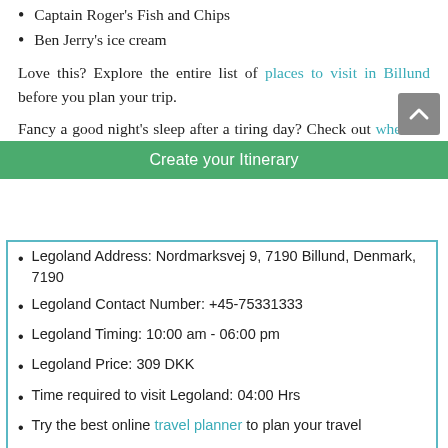Captain Roger's Fish and Chips
Ben Jerry's ice cream
Love this? Explore the entire list of places to visit in Billund before you plan your trip.
Fancy a good night's sleep after a tiring day? Check out where to stay in Billund and book an accommodation of your choice.
Legoland Address: Nordmarksvej 9, 7190 Billund, Denmark, 7190
Legoland Contact Number: +45-75331333
Legoland Timing: 10:00 am - 06:00 pm
Legoland Price: 309 DKK
Time required to visit Legoland: 04:00 Hrs
Try the best online travel planner to plan your travel
Create your Itinerary